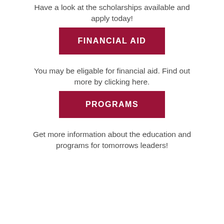Have a look at the scholarships available and apply today!
FINANCIAL AID
You may be eligable for financial aid. Find out more by clicking here.
PROGRAMS
Get more information about the education and programs for tomorrows leaders!